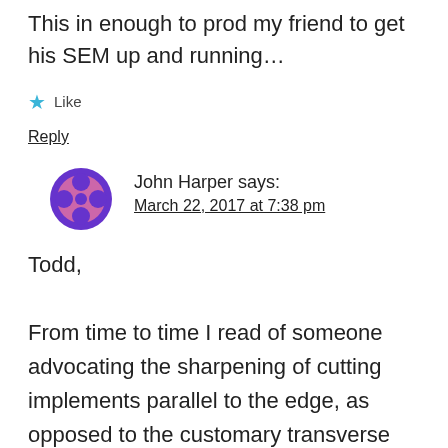This in enough to prod my friend to get his SEM up and running…
★ Like
Reply
John Harper says:
March 22, 2017 at 7:38 pm
Todd,
From time to time I read of someone advocating the sharpening of cutting implements parallel to the edge, as opposed to the customary transverse (to the edge). usually, but not always, this is done because the edge is too wide for the